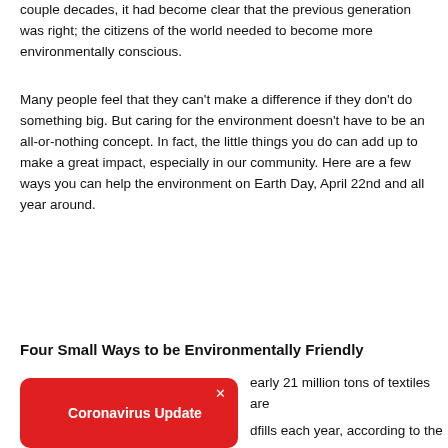couple decades, it had become clear that the previous generation was right; the citizens of the world needed to become more environmentally conscious.
Many people feel that they can't make a difference if they don't do something big. But caring for the environment doesn't have to be an all-or-nothing concept. In fact, the little things you do can add up to make a great impact, especially in our community. Here are a few ways you can help the environment on Earth Day, April 22nd and all year around.
Four Small Ways to be Environmentally Friendly
[Figure (other): Red Coronavirus Update notification toast with an X close button in the bottom-left corner]
early 21 million tons of textiles are
dfills each year, according to the